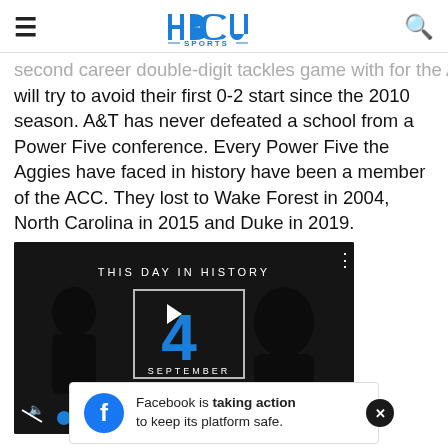HBCU Sports
second career double-digit tackles game with for the Aggies will try to avoid their first 0-2 start since the 2010 season. A&T has never defeated a school from a Power Five conference. Every Power Five the Aggies have faced in history have been a member of the ACC. They lost to Wake Forest in 2004, North Carolina in 2015 and Duke in 2019.
[Figure (screenshot): Video player showing 'This Day in History' with the date September 4, featuring a blue play button number 4 and SEPTEMBER text, with video controls including mute, progress bar, and fullscreen button.]
Facebook is taking action to keep its platform safe.